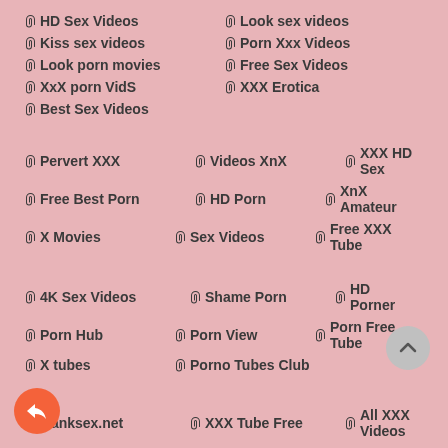HD Sex Videos
Look sex videos
Kiss sex videos
Porn Xxx Videos
Look porn movies
Free Sex Videos
XxX porn VidS
XXX Erotica
Best Sex Videos
Pervert XXX
Videos XnX
XXX HD Sex
Free Best Porn
HD Porn
XnX Amateur
X Movies
Sex Videos
Free XXX Tube
4K Sex Videos
Shame Porn
HD Porner
Porn Hub
Porn View
Porn Free Tube
X tubes
Porno Tubes Club
wanksex.net
XXX Tube Free
All XXX Videos
X Videos
Free Sex
Porno Hub